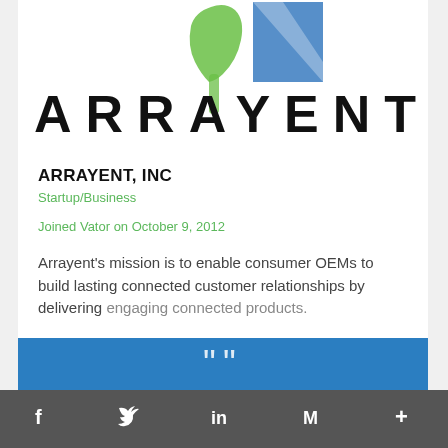[Figure (logo): Arrayent logo — green figure and blue triangle above large spaced letters ARRAYENT]
ARRAYENT, INC
Startup/Business
Joined Vator on October 9, 2012
Arrayent's mission is to enable consumer OEMs to build lasting connected customer relationships by delivering engaging connected products.
[Figure (screenshot): Blue banner partially visible at bottom of card]
f  Twitter  in  M  +